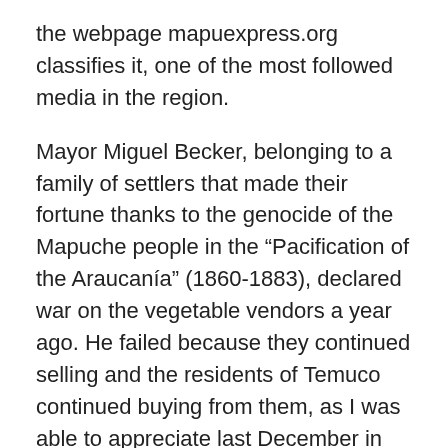the webpage mapuexpress.org classifies it, one of the most followed media in the region.
Mayor Miguel Becker, belonging to a family of settlers that made their fortune thanks to the genocide of the Mapuche people in the “Pacification of the Araucanía” (1860-1883), declared war on the vegetable vendors a year ago. He failed because they continued selling and the residents of Temuco continued buying from them, as I was able to appreciate last December in the environment of the Mercado Pinto, where there are hundreds of stalls of vegetables, fruits, meats, legumes and artesanía.
While the Sebastián Piñera government distributes aid to the big agricultural entrepreneurs and reduces their taxes, the campesinos are expelled from the markets in the Mapuche regions, as a document of the Mapuche History